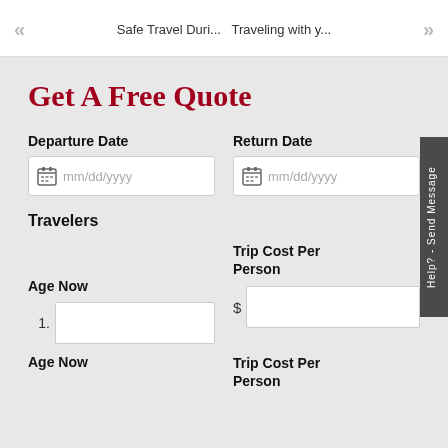<< Safe Travel Duri...  Traveling with y... >>
Get A Free Quote
Departure Date
Return Date
Travelers
Age Now
Trip Cost Per Person
Age Now
Trip Cost Per Person